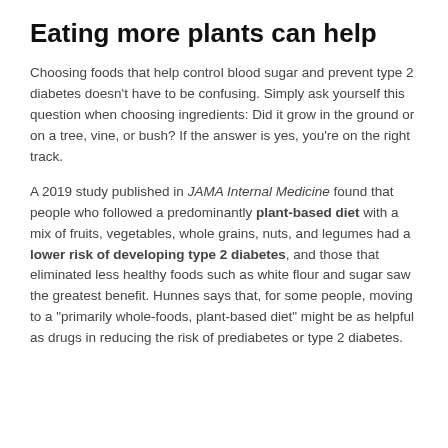Eating more plants can help
Choosing foods that help control blood sugar and prevent type 2 diabetes doesn’t have to be confusing. Simply ask yourself this question when choosing ingredients: Did it grow in the ground or on a tree, vine, or bush? If the answer is yes, you’re on the right track.
A 2019 study published in JAMA Internal Medicine found that people who followed a predominantly plant-based diet with a mix of fruits, vegetables, whole grains, nuts, and legumes had a lower risk of developing type 2 diabetes, and those that eliminated less healthy foods such as white flour and sugar saw the greatest benefit. Hunnes says that, for some people, moving to a “primarily whole-foods, plant-based diet” might be as helpful as drugs in reducing the risk of prediabetes or type 2 diabetes.